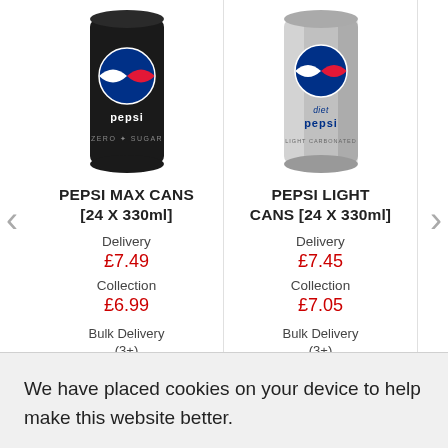[Figure (screenshot): Pepsi Max Cans product image with watermark logo]
PEPSI MAX CANS [24 X 330ml]
Delivery
£7.49
Collection
£6.99
Bulk Delivery (3+)
[Figure (screenshot): Pepsi Light Cans product image with watermark logo]
PEPSI LIGHT CANS [24 X 330ml]
Delivery
£7.45
Collection
£7.05
Bulk Delivery (3+)
We have placed cookies on your device to help make this website better.
Ok